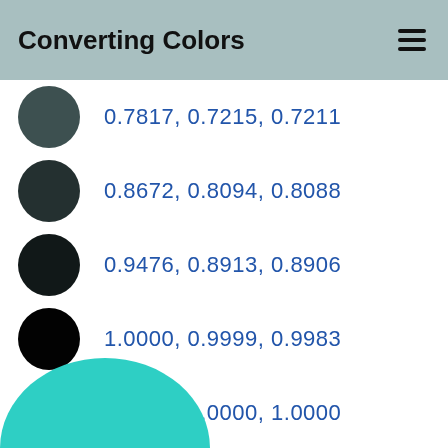Converting Colors
0.7817, 0.7215, 0.7211
0.8672, 0.8094, 0.8088
0.9476, 0.8913, 0.8906
1.0000, 0.9999, 0.9983
1.0000, 1.0000, 1.0000
⊟ View as
[Figure (illustration): Partial teal/cyan circular shape visible at the bottom-left corner of the page]